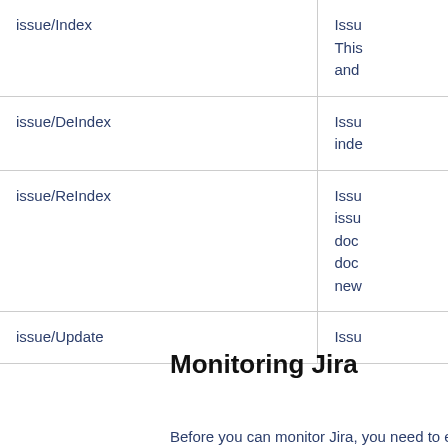|  |  |
| --- | --- |
| issue/Index | Issu
This
and |
| issue/DeIndex | Issu
inde |
| issue/ReIndex | Issu
issu
doc
doc
new |
| issue/Update | Issu |
Monitoring Jira
Before you can monitor Jira, you need to enable JMX monitoring and then use a JMX client to view the metrics.